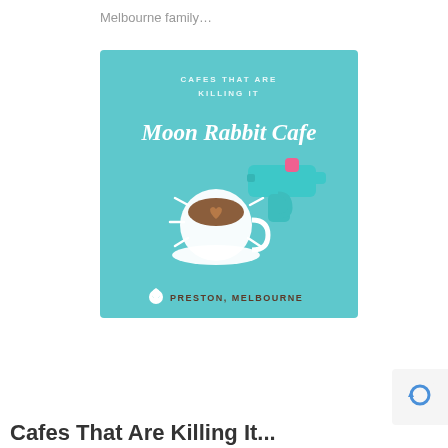Melbourne family…
[Figure (illustration): Promotional graphic card with teal/turquoise background showing text 'CAFES THAT ARE KILLING IT' above stylized script text 'Moon Rabbit Cafe', with an illustration of a coffee cup with a heart latte art and a teal toy water gun, and location text 'PRESTON, MELBOURNE' at the bottom.]
Cafes That Are Killing It...